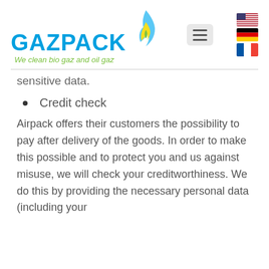[Figure (logo): Gazpack logo with flame icon and tagline 'We clean bio gaz and oil gaz']
sensitive data.
Credit check
Airpack offers their customers the possibility to pay after delivery of the goods. In order to make this possible and to protect you and us against misuse, we will check your creditworthiness. We do this by providing the necessary personal data (including your